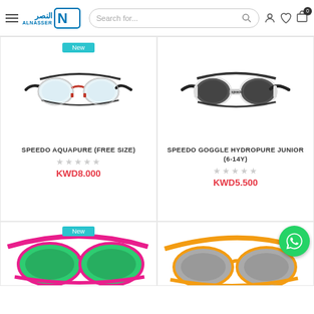ALNASSER — Search for... [cart: 0]
[Figure (photo): Speedo Aquapure swim goggles, black strap with red accents and clear lenses, with 'New' badge]
SPEEDO AQUAPURE (FREE SIZE)
KWD8.000
[Figure (photo): Speedo Hydropure Junior swim goggles, black strap with white/grey frame and dark tinted lenses]
SPEEDO GOGGLE HYDROPURE JUNIOR (6-14Y)
KWD5.500
[Figure (photo): Swim goggles with pink strap and green lenses, with 'New' badge — partially visible]
[Figure (photo): Swim goggles with yellow/gold strap — partially visible, with WhatsApp contact button overlay]